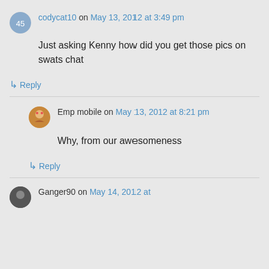codycat10 on May 13, 2012 at 3:49 pm
Just asking Kenny how did you get those pics on swats chat
↳ Reply
Emp mobile on May 13, 2012 at 8:21 pm
Why, from our awesomeness
↳ Reply
Ganger90 on May 14, 2012 at